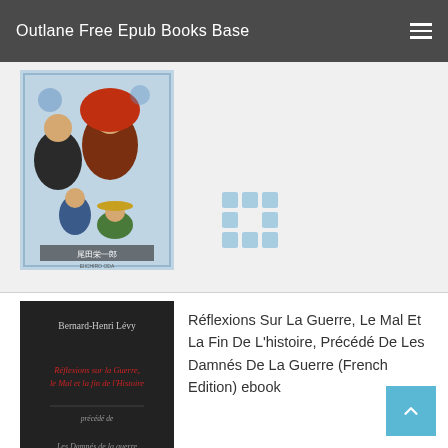Outlane Free Epub Books Base
[Figure (illustration): Manga book cover with anime characters including a figure with red hair and others in illustrated style with Japanese text at bottom]
[Figure (other): 3x3 grid of light blue squares icon]
[Figure (illustration): Dark book cover with text: Bernard-Henri Lévy, Réflexions sur la Guerre, le Mal et la fin de l'Histoire, précédé de Les Damnés de la guerre, Grasset]
Réflexions Sur La Guerre, Le Mal Et La Fin De L'histoire, Précédé De Les Damnés De La Guerre (French Edition) ebook